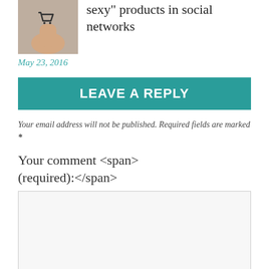[Figure (photo): Thumbnail image of a shopping cart icon on a finger, representing e-commerce or social network shopping]
sexy” products in social networks
May 23, 2016
LEAVE A REPLY
Your email address will not be published. Required fields are marked *
Your comment <span>(required):</span>
[Figure (other): Empty text area input box for comment entry]